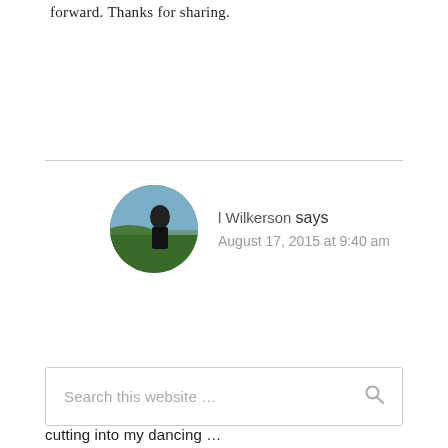forward. Thanks for sharing.
[Figure (photo): Circular avatar photo of a person outdoors near water and green landscape]
l Wilkerson says
August 17, 2015 at 9:40 am
If there's a post in learning to swim, I'd love to hear about it. Working on this now with arthritis in one hip cutting into my dancing …
Search this website …